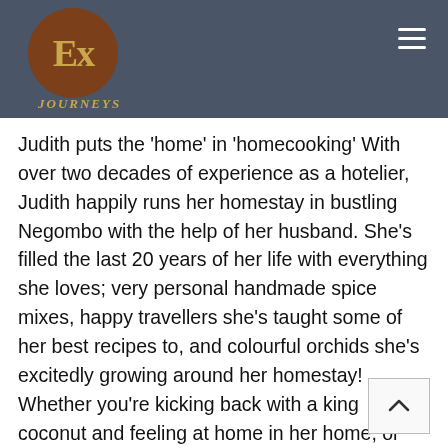EX JOURNEYS
Judith puts the 'home' in 'homecooking' With over two decades of experience as a hotelier, Judith happily runs her homestay in bustling Negombo with the help of her husband. She's filled the last 20 years of her life with everything she loves; very personal handmade spice mixes, happy travellers she's taught some of her best recipes to, and colourful orchids she's excitedly growing around her homestay! Whether you're kicking back with a king coconut and feeling at home in her home, or part of her cooking class learning to make her signature Negombo Prawn Curry – you're in for a treat!